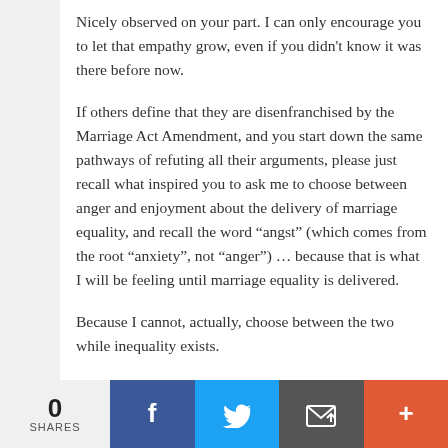Nicely observed on your part. I can only encourage you to let that empathy grow, even if you didn't know it was there before now.
If others define that they are disenfranchised by the Marriage Act Amendment, and you start down the same pathways of refuting all their arguments, please just recall what inspired you to ask me to choose between anger and enjoyment about the delivery of marriage equality, and recall the word “angst” (which comes from the root “anxiety”, not “anger”) … because that is what I will be feeling until marriage equality is delivered.
Because I cannot, actually, choose between the two while inequality exists.
If you can take that on board, I am very glad to have debated
0 SHARES